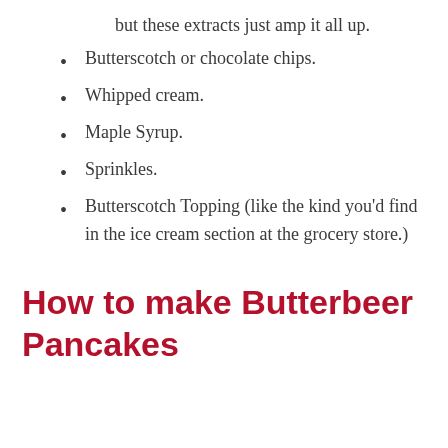but these extracts just amp it all up.
Butterscotch or chocolate chips.
Whipped cream.
Maple Syrup.
Sprinkles.
Butterscotch Topping (like the kind you'd find in the ice cream section at the grocery store.)
How to make Butterbeer Pancakes